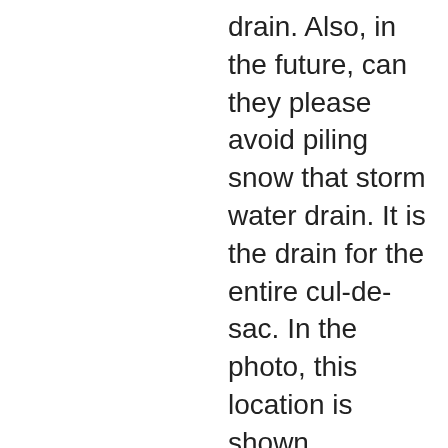drain. Also, in the future, can they please avoid piling snow that storm water drain. It is the drain for the entire cul-de-sac. In the photo, this location is shown approximately by the red arrow. When snow is piled over this drain, as snow melts from anywhere uphill, or if it